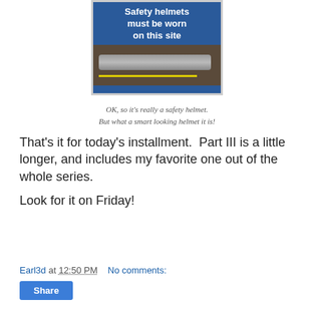[Figure (photo): Photo of a blue safety sign reading 'Safety helmets must be worn on this site' mounted above metal pipes on a wooden surface]
OK, so it's really a safety helmet.
But what a smart looking helmet it is!
That's it for today's installment.  Part III is a little longer, and includes my favorite one out of the whole series.
Look for it on Friday!
Earl3d at 12:50 PM    No comments: